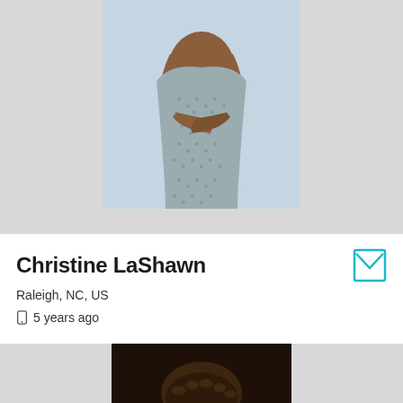[Figure (photo): Top portion of a profile photo showing a person in a knitted/textured gray top, arms crossed, cropped at upper body]
Christine LaShawn
Raleigh, NC, US
5 years ago
Details
[Figure (photo): Bottom portion of a second profile photo, partially cropped, showing dark background with partial figure]